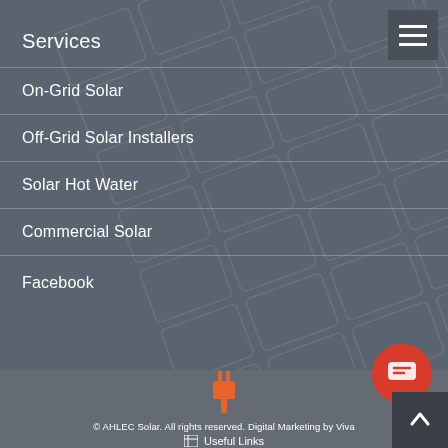Services
On-Grid Solar
Off-Grid Solar Installers
Solar Hot Water
Commercial Solar
Facebook
© AHLEC Solar. All rights reserved. Digital Marketing by Viva
Useful Links